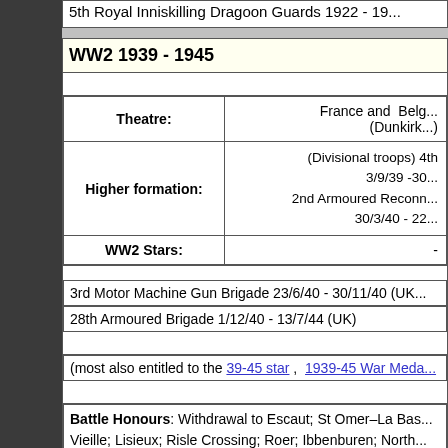5th Royal Inniskilling Dragoon Guards 1922 - 19...
WW2 1939 - 1945
| Theatre: | Higher formation: | WW2 Stars: |
| --- | --- | --- |
| Theatre: | France and Belg... (Dunkirk...) |
| Higher formation: | (Divisional troops) 4th... 3/9/39 -30... 2nd Armoured Reconn... 30/3/40 - 22... |
| WW2 Stars: | - |
3rd Motor Machine Gun Brigade 23/6/40 - 30/11/40 (UK...
28th Armoured Brigade 1/12/40 - 13/7/44 (UK)
(most also entitled to the 39-45 star , 1939-45 War Meda...
Battle Honours: Withdrawal to Escaut; St Omer–La Bas... Vieille; Lisieux; Risle Crossing; Roer; Ibbenburen; North...
Egypt, Canal Zone 1951 - 1954